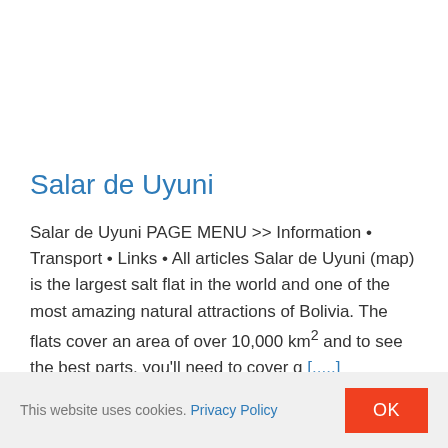Salar de Uyuni
Salar de Uyuni PAGE MENU >> Information • Transport • Links • All articles Salar de Uyuni (map) is the largest salt flat in the world and one of the most amazing natural attractions of Bolivia. The flats cover an area of over 10,000 km² and to see the best parts, you'll need to cover q [.....]
This website uses cookies. Privacy Policy  OK